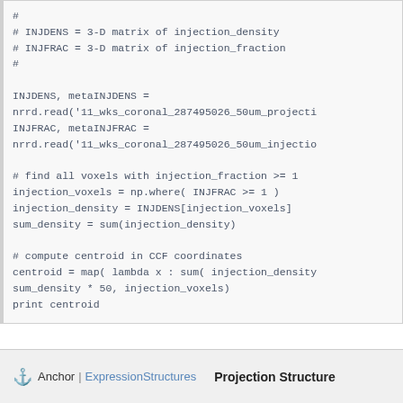# 
# INJDENS = 3-D matrix of injection_density
# INJFRAC = 3-D matrix of injection_fraction
#

INJDENS, metaINJDENS =
nrrd.read('11_wks_coronal_287495026_50um_projecti
INJFRAC, metaINJFRAC =
nrrd.read('11_wks_coronal_287495026_50um_injectio

# find all voxels with injection_fraction >= 1
injection_voxels = np.where( INJFRAC >= 1 )
injection_density = INJDENS[injection_voxels]
sum_density = sum(injection_density)

# compute centroid in CCF coordinates
centroid = map( lambda x : sum( injection_density
sum_density * 50, injection_voxels)
print centroid
Anchor | ExpressionStructures   Projection Structure